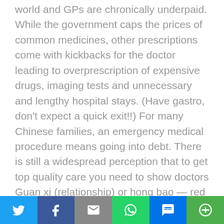world and GPs are chronically underpaid. While the government caps the prices of common medicines, other prescriptions come with kickbacks for the doctor leading to overprescription of expensive drugs, imaging tests and unnecessary and lengthy hospital stays. (Have gastro, don't expect a quick exit!!) For many Chinese families, an emergency medical procedure means going into debt. There is still a widespread perception that to get top quality care you need to show doctors Guan xi (relationship) or hong bao — red envelopes stuffed with cash.  A Chinese friend who had her baby in Xi'an a few years ago, had to do just this to
[Figure (other): Social share bar with Twitter, Facebook, Email, WhatsApp, SMS, and More buttons]